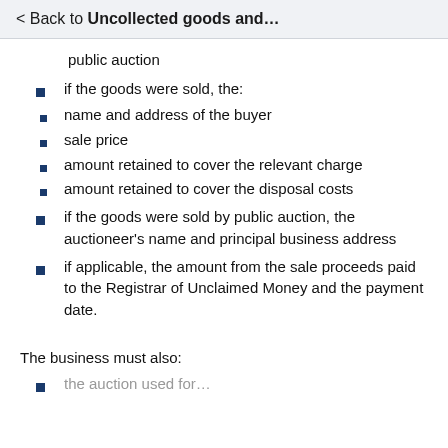< Back to Uncollected goods and…
public auction
if the goods were sold, the:
name and address of the buyer
sale price
amount retained to cover the relevant charge
amount retained to cover the disposal costs
if the goods were sold by public auction, the auctioneer's name and principal business address
if applicable, the amount from the sale proceeds paid to the Registrar of Unclaimed Money and the payment date.
The business must also:
the auction used for the last line (partial, cut off)